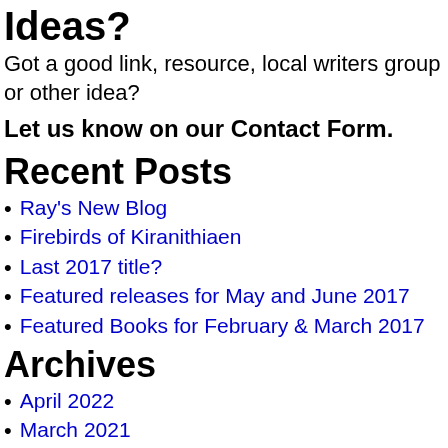Ideas?
Got a good link, resource, local writers group or other idea?
Let us know on our Contact Form.
Recent Posts
Ray's New Blog
Firebirds of Kiranithiaen
Last 2017 title?
Featured releases for May and June 2017
Featured Books for February & March 2017
Archives
April 2022
March 2021
October 2017
May 2017
February 2017